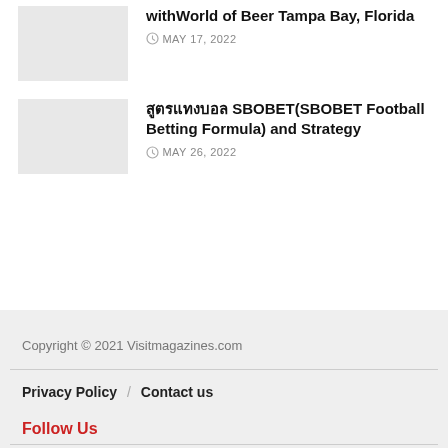withWorld of Beer Tampa Bay, Florida
MAY 17, 2022
สูตรแทงบอล SBOBET(SBOBET Football Betting Formula) and Strategy
MAY 26, 2022
Copyright © 2021 Visitmagazines.com
Privacy Policy / Contact us
Follow Us
Social icons: f, twitter, G+, pinterest, VK, RSS